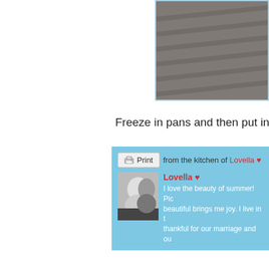[Figure (photo): Black and white photo of stairs, cropped top right corner]
Freeze in pans and then put into co
Print | from the kitchen of Lovella ♥
[Figure (photo): Black and white photo of two people (author profile photo)]
Lovella ♥
I love the beauty of summer! Pic
beautiful brings me joy. I live in t
thankful for our marriage and ou
6 comments:
[Figure (photo): Commenter profile photo thumbnail]
Rosella  September 11, 2017 a
So, so pretty Lovella! And delici
Reply